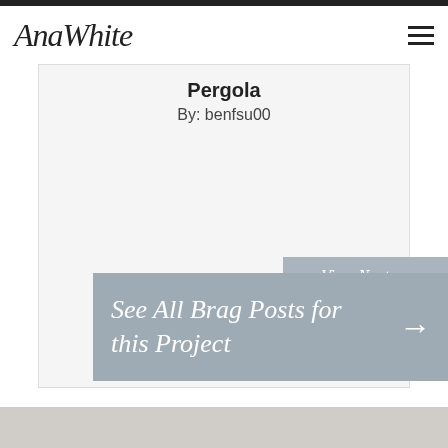AnaWhite
Pergola
By: benfsu00
View Next →
See All Brag Posts for this Project →